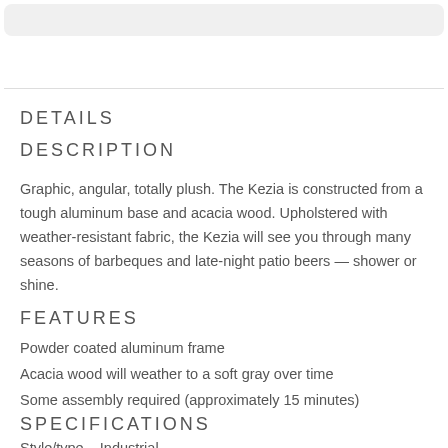DETAILS
DESCRIPTION
Graphic, angular, totally plush. The Kezia is constructed from a tough aluminum base and acacia wood. Upholstered with weather-resistant fabric, the Kezia will see you through many seasons of barbeques and late-night patio beers — shower or shine.
FEATURES
Powder coated aluminum frame
Acacia wood will weather to a soft gray over time
Some assembly required (approximately 15 minutes)
SPECIFICATIONS
Style/type    Industrial